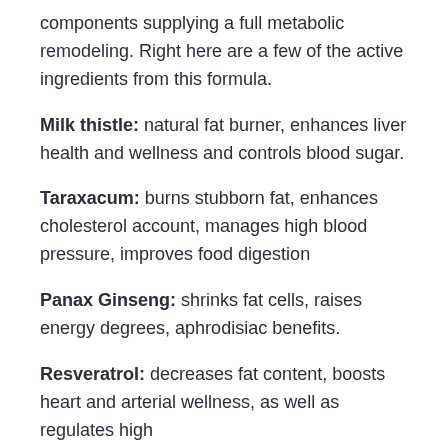components supplying a full metabolic remodeling. Right here are a few of the active ingredients from this formula.
Milk thistle: natural fat burner, enhances liver health and wellness and controls blood sugar.
Taraxacum: burns stubborn fat, enhances cholesterol account, manages high blood pressure, improves food digestion
Panax Ginseng: shrinks fat cells, raises energy degrees, aphrodisiac benefits.
Resveratrol: decreases fat content, boosts heart and arterial wellness, as well as regulates high